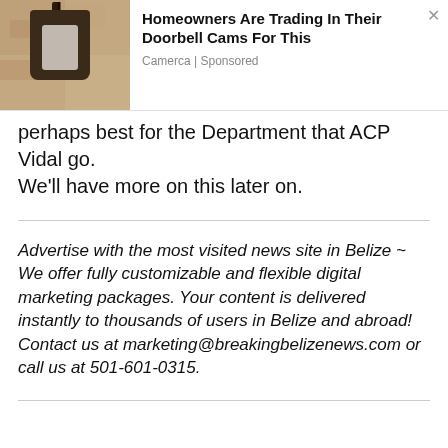[Figure (screenshot): Advertisement banner with an image of a wall-mounted security camera/lantern on the left, and ad text on the right reading 'Homeowners Are Trading In Their Doorbell Cams For This' with source 'Camerca | Sponsored' and a close button X.]
perhaps best for the Department that ACP Vidal go.
We’ll have more on this later on.
Advertise with the most visited news site in Belize ~ We offer fully customizable and flexible digital marketing packages. Your content is delivered instantly to thousands of users in Belize and abroad! Contact us at marketing@breakingbelizenews.com or call us at 501-601-0315.